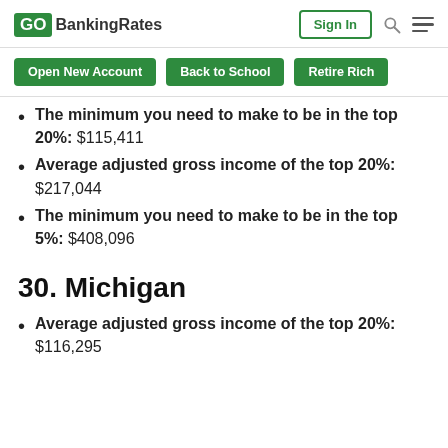GOBankingRates | Sign In
Open New Account | Back to School | Retire Rich
The minimum you need to make to be in the top 20%: $115,411
Average adjusted gross income of the top 20%: $217,044
The minimum you need to make to be in the top 5%: $408,096
30. Michigan
Average adjusted gross income of the top 20%: $116,295